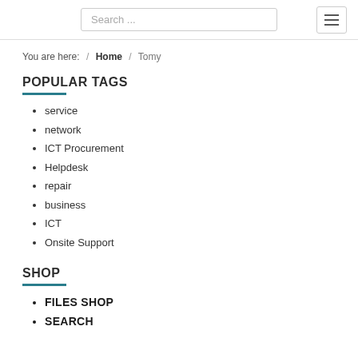Search ... [search box] [menu button]
You are here: / Home / Tomy
POPULAR TAGS
service
network
ICT Procurement
Helpdesk
repair
business
ICT
Onsite Support
SHOP
FILES SHOP
SEARCH